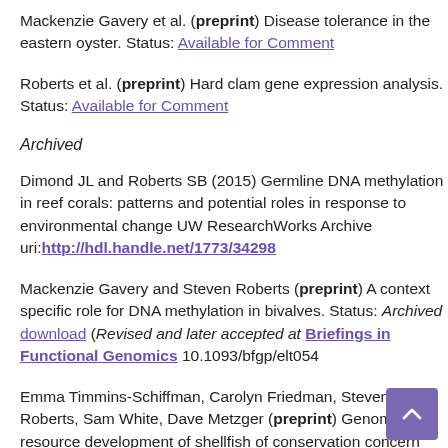Mackenzie Gavery et al. (preprint) Disease tolerance in the eastern oyster. Status: Available for Comment
Roberts et al. (preprint) Hard clam gene expression analysis. Status: Available for Comment
Archived
Dimond JL and Roberts SB (2015) Germline DNA methylation in reef corals: patterns and potential roles in response to environmental change UW ResearchWorks Archive uri:http://hdl.handle.net/1773/34298
Mackenzie Gavery and Steven Roberts (preprint) A context specific role for DNA methylation in bivalves. Status: Archived download (Revised and later accepted at Briefings in Functional Genomics 10.1093/bfgp/elt054
Emma Timmins-Schiffman, Carolyn Friedman, Steven Roberts, Sam White, Dave Metzger (preprint) Genomic resource development of shellfish of conservation concern